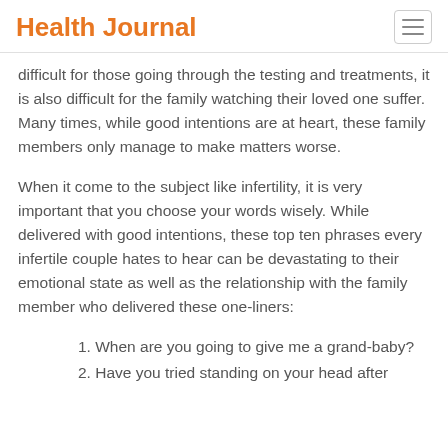Health Journal
difficult for those going through the testing and treatments, it is also difficult for the family watching their loved one suffer. Many times, while good intentions are at heart, these family members only manage to make matters worse.
When it come to the subject like infertility, it is very important that you choose your words wisely. While delivered with good intentions, these top ten phrases every infertile couple hates to hear can be devastating to their emotional state as well as the relationship with the family member who delivered these one-liners:
1. When are you going to give me a grand-baby?
2. Have you tried standing on your head after